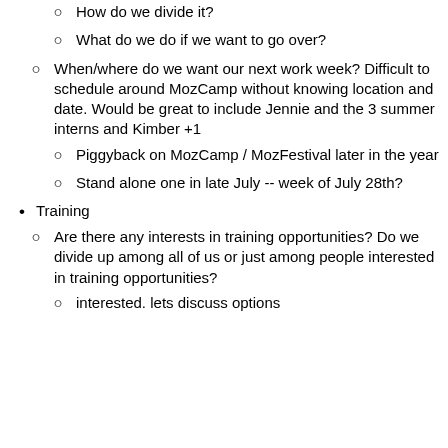How do we divide it?
What do we do if we want to go over?
When/where do we want our next work week? Difficult to schedule around MozCamp without knowing location and date.  Would be great to include Jennie and the 3 summer interns and Kimber +1
Piggyback on MozCamp / MozFestival later in the year
Stand alone one in late July -- week of July 28th?
Training
Are there any interests in training opportunities? Do we divide up among all of us or just among people interested in training opportunities?
interested. lets discuss options